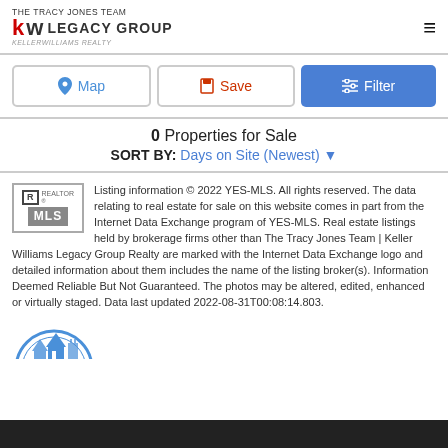THE TRACY JONES TEAM kw LEGACY GROUP KELLERWILLIAMS REALTY
[Figure (screenshot): Map, Save, and Filter buttons row]
0 Properties for Sale
SORT BY: Days on Site (Newest) ▾
Listing information © 2022 YES-MLS. All rights reserved. The data relating to real estate for sale on this website comes in part from the Internet Data Exchange program of YES-MLS. Real estate listings held by brokerage firms other than The Tracy Jones Team | Keller Williams Legacy Group Realty are marked with the Internet Data Exchange logo and detailed information about them includes the name of the listing broker(s). Information Deemed Reliable But Not Guaranteed. The photos may be altered, edited, enhanced or virtually staged. Data last updated 2022-08-31T00:08:14.803.